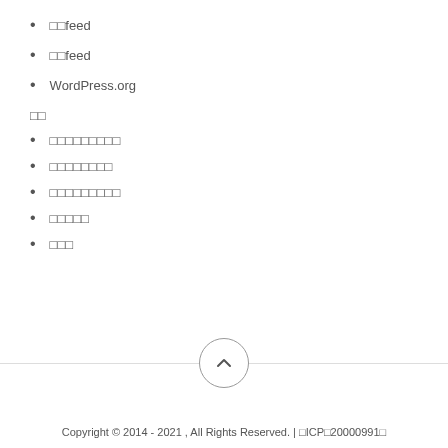□□feed
□□feed
WordPress.org
□□
□□□□□□□□□
□□□□□□□□
□□□□□□□□□
□□□□□
□□□
Copyright © 2014 - 2021 , All Rights Reserved. | □ICP□20000991□